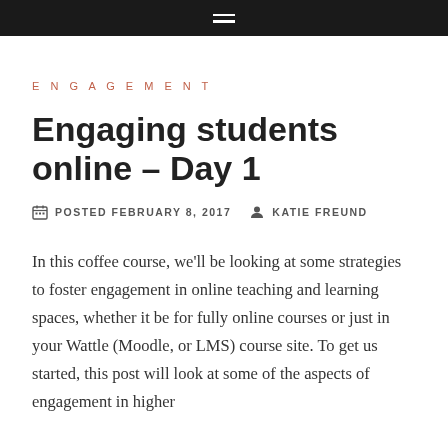≡
ENGAGEMENT
Engaging students online – Day 1
POSTED FEBRUARY 8, 2017   KATIE FREUND
In this coffee course, we'll be looking at some strategies to foster engagement in online teaching and learning spaces, whether it be for fully online courses or just in your Wattle (Moodle, or LMS) course site. To get us started, this post will look at some of the aspects of engagement in higher